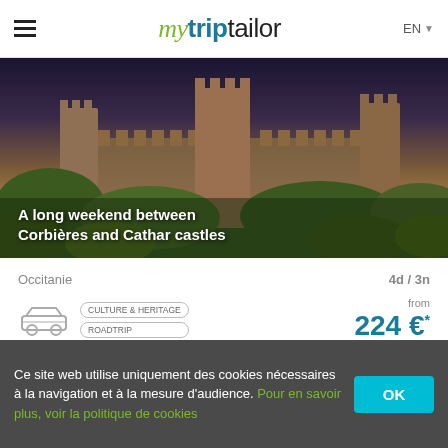mytriptailor  EN
[Figure (photo): Aerial/side view of a medieval fortress/castle (Carcassonne-style) with stone towers and battlements, surrounded by green trees, under a blue-purple dusk sky.]
A long weekend between Corbières and Cathar castles
Occitanie	4d / 3n
CULTURE & HERITAGE
ROADTRIP
from
224 €*
Our added value
Ce site web utilise uniquement des cookies nécessaires à la navigation et à la mesure d'audience. Pour en savoir plus, voir la politique de cookies